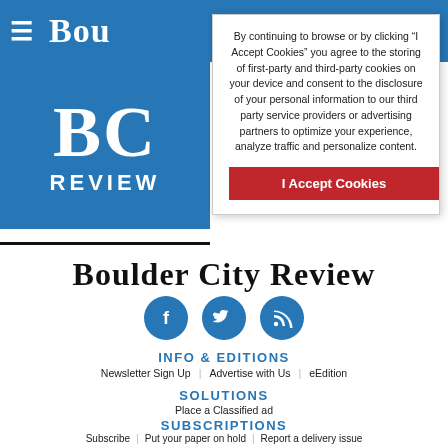[Figure (screenshot): Blue navigation bar with hamburger menu icon and 'Bou' text (partial newspaper name) on white/blue header]
[Figure (logo): BC Review logo: white 'BC' letters and 'REVIEW' text on blue background square]
By continuing to browse or by clicking “I Accept Cookies” you agree to the storing of first-party and third-party cookies on your device and consent to the disclosure of your personal information to our third party service providers or advertising partners to optimize your experience, analyze traffic and personalize content.
I Accept Cookies
Boulder City Review
[Figure (illustration): Three blue circular social media icons: Facebook, Twitter, RSS feed]
INFO & EDITIONS
Newsletter Sign Up
Advertise with Us
eEdition
SOLUTIONS
Place a Classified ad
SUBSCRIPTIONS
Subscribe
Put your paper on hold
Report a delivery issue
Newsletter sign up